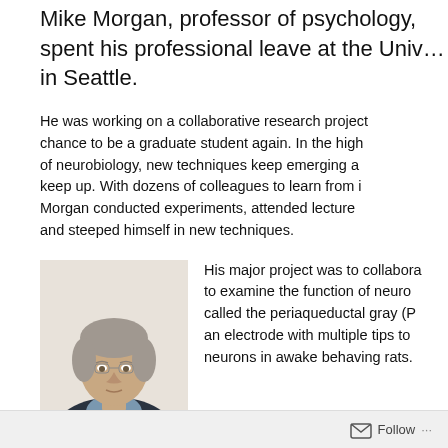Mike Morgan, professor of psychology, spent his professional leave at the University in Seattle.
He was working on a collaborative research project and had the chance to be a graduate student again. In the high-powered world of neurobiology, new techniques keep emerging and it is hard to keep up. With dozens of colleagues to learn from in the lab, Morgan conducted experiments, attended lectures and seminars, and steeped himself in new techniques.
[Figure (photo): Head and shoulders photo of Mike Morgan, a middle-aged man with short grey hair wearing a dark blue zip-up jacket over a light blue shirt, against a light beige background.]
His major project was to collaborate to examine the function of neurons in a region called the periaqueductal gray (PAG), using an electrode with multiple tips to record neurons in awake behaving rats.
Follow